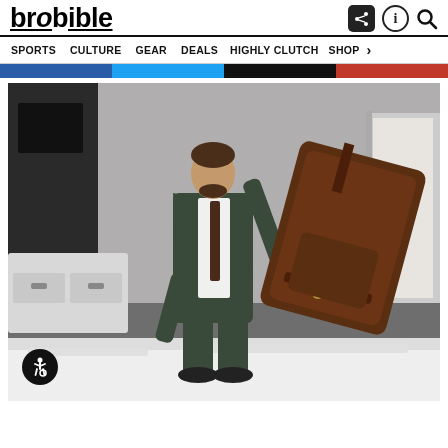brobible
SPORTS  CULTURE  GEAR  DEALS  HIGHLY CLUTCH  SHOP
[Figure (photo): Man in a dark suit holding up a large brown leather bag over a white bed in a hotel room. An accessibility icon is visible in the lower left corner of the photo.]